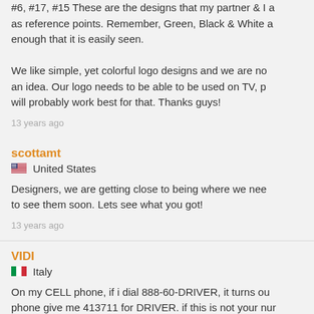#6, #17, #15 These are the designs that my partner & I a as reference points. Remember, Green, Black & White a enough that it is easily seen.

We like simple, yet colorful logo designs and we are no an idea. Our logo needs to be able to be used on TV, p will probably work best for that. Thanks guys!
13 years ago
scottamt
United States
Designers, we are getting close to being where we nee to see them soon. Lets see what you got!
13 years ago
VIDI
Italy
On my CELL phone, if i dial 888-60-DRIVER, it turns ou phone give me 413711 for DRIVER. if this is not your nur